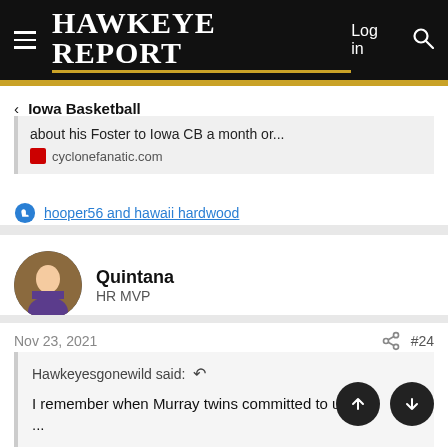Hawkeye Report
< Iowa Basketball
about his Foster to Iowa CB a month or... cyclonefanatic.com
hooper56 and hawaii hardwood
Quintana
HR MVP
Nov 23, 2021  #24
Hawkeyesgonewild said: ↩

I remember when Murray twins committed to us...